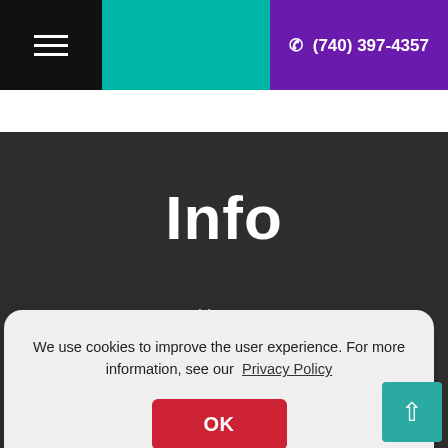☰  (740) 397-4357
Info
Home
Get Help
We use cookies to improve the user experience. For more information, see our Privacy Policy
OK